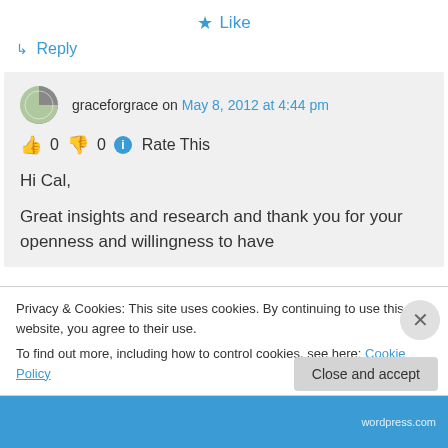★ Like
↳ Reply
graceforgrace on May 8, 2012 at 4:44 pm
👍 0 👎 0 ℹ Rate This
Hi Cal,
Great insights and research and thank you for your openness and willingness to have
Privacy & Cookies: This site uses cookies. By continuing to use this website, you agree to their use.
To find out more, including how to control cookies, see here: Cookie Policy
Close and accept